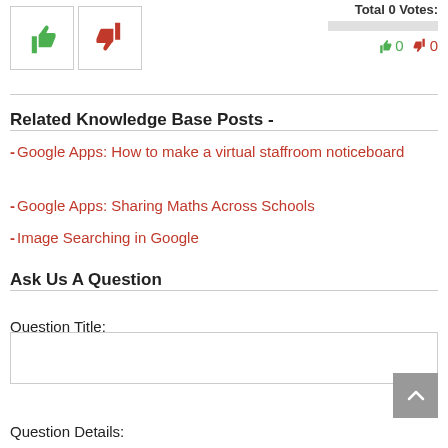[Figure (other): Thumbs up (green) and thumbs down (red) vote buttons, with a progress bar and vote counts (0 up, 0 down) and 'Total 0 Votes:' label]
Related Knowledge Base Posts -
Google Apps: How to make a virtual staffroom noticeboard
Google Apps: Sharing Maths Across Schools
Image Searching in Google
Ask Us A Question
Question Title:
Question Details: